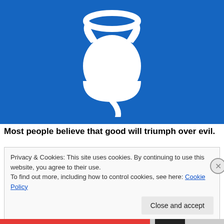[Figure (illustration): White icon of a devil/angel hybrid figure — a round ghost-like body with devil horns and a curled devil tail with an arrow at the end, topped by an angel halo — on a bright blue background.]
Most people believe that good will triumph over evil.
Privacy & Cookies: This site uses cookies. By continuing to use this website, you agree to their use.
To find out more, including how to control cookies, see here: Cookie Policy